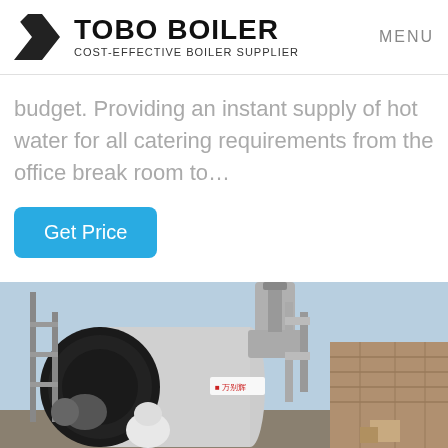TOBO BOILER — COST-EFFECTIVE BOILER SUPPLIER | MENU
budget. Providing an instant supply of hot water for all catering requirements from the office break room to…
Get Price
[Figure (photo): Industrial boiler installation outdoors — a large cylindrical horizontal boiler with black front end cap mounted on a frame, connected to vertical piping and auxiliary equipment; a worker in white protective clothing near the burner end; clear sky background with brick wall.]